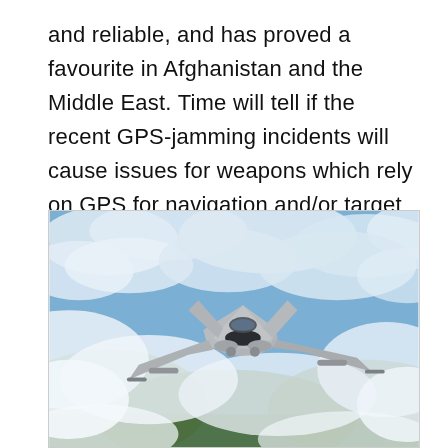and reliable, and has proved a favourite in Afghanistan and the Middle East. Time will tell if the recent GPS-jamming incidents will cause issues for weapons which rely on GPS for navigation and/or target acquisition.
[Figure (photo): A military fighter jet (FA-18 Hornet or similar) flying through clouds with mountainous terrain visible below. The aircraft is shown in a three-quarter front view with weapons mounted on wings.]